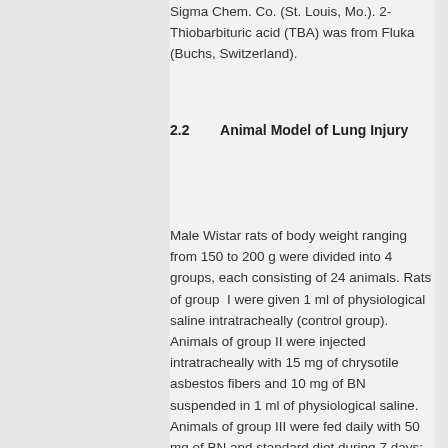Sigma Chem. Co. (St. Louis, Mo.). 2-Thiobarbituric acid (TBA) was from Fluka (Buchs, Switzerland).
2.2       Animal Model of Lung Injury
Male Wistar rats of body weight ranging from 150 to 200 g were divided into 4 groups, each consisting of 24 animals. Rats of group  I were given 1 ml of physiological saline intratracheally (control group). Animals of group II were injected intratracheally with 15 mg of chrysotile asbestos fibers and 10 mg of BN suspended in 1 ml of physiological saline. Animals of group III were fed daily with 50 mg of BN and standard diet during 7 days; after that, they were given 15 mg of chrysotile asbestos fibers intratracheally and fed again with 50 mg of Bio-normalizer for next 7 days. Animals of group IV were injected with 15 mg of asbestos fibers. The animals were sacrificed at 3d, 7th, 14th, and 28th days after